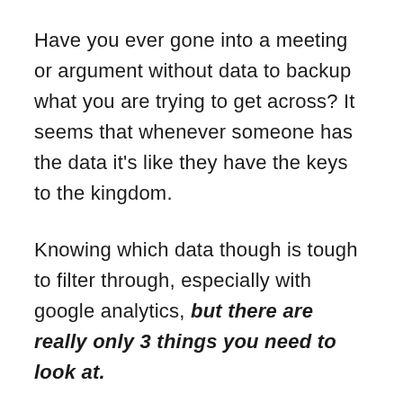Have you ever gone into a meeting or argument without data to backup what you are trying to get across? It seems that whenever someone has the data it's like they have the keys to the kingdom.
Knowing which data though is tough to filter through, especially with google analytics, but there are really only 3 things you need to look at.